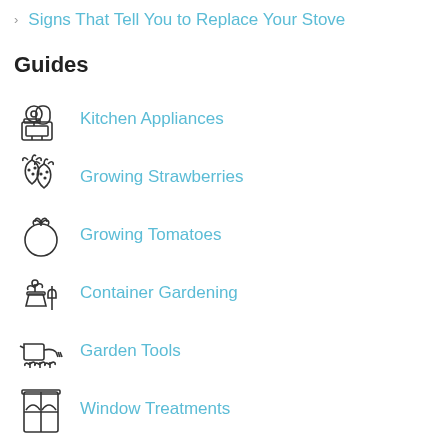Signs That Tell You to Replace Your Stove
Guides
Kitchen Appliances
Growing Strawberries
Growing Tomatoes
Container Gardening
Garden Tools
Window Treatments